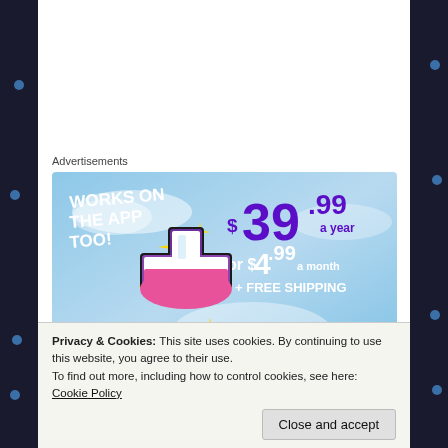Advertisements
[Figure (illustration): Tumblr advertisement banner with light blue sky background. Shows 'WORKS ON THE APP TOO!' text in white bold italic on the left, a stylized Tumblr 't' logo in purple/pink/white with sparkles in the center-left, and pricing info on the right: $39.99 a year or $4.99 a month + FREE SHIPPING in purple and white text.]
We then ventured to the Jakhoo Temple dedicated
Privacy & Cookies: This site uses cookies. By continuing to use this website, you agree to their use.
To find out more, including how to control cookies, see here: Cookie Policy
Close and accept
thick forest. It's monkey territory. And they made